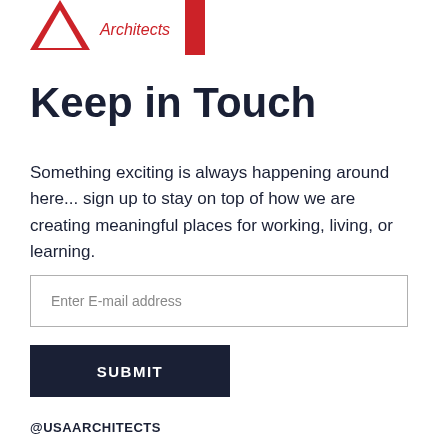[Figure (logo): USA Architects logo with red geometric shapes and the word 'Architects' in red text]
Keep in Touch
Something exciting is always happening around here... sign up to stay on top of how we are creating meaningful places for working, living, or learning.
Enter E-mail address
SUBMIT
@USAARCHITECTS